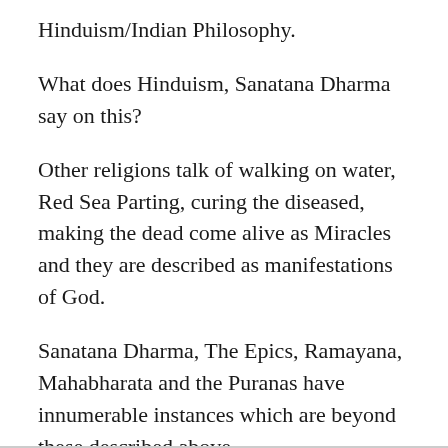Hinduism/Indian Philosophy.
What does Hinduism, Sanatana Dharma say on this?
Other religions talk of walking on water, Red Sea Parting, curing the diseased, making the dead come alive as Miracles and they are described as manifestations of God.
Sanatana Dharma, The Epics, Ramayana, Mahabharata and the Puranas have innumerable instances which are beyond these described above.